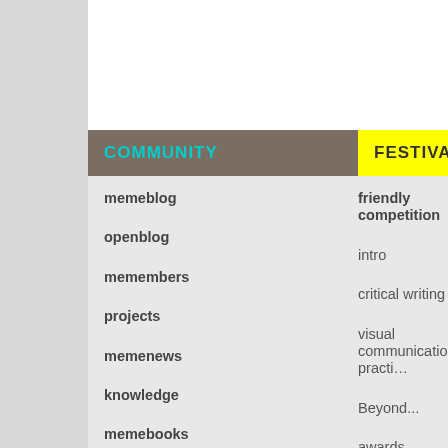COMMUNITY
FESTIVAL
memeblog
openblog
memembers
projects
memenews
knowledge
memebooks
join the community
friendly competition
intro
critical writing
visual communication practi…
Beyond...
awards
rules
submit your work
previous festivals
curators & editors
intro